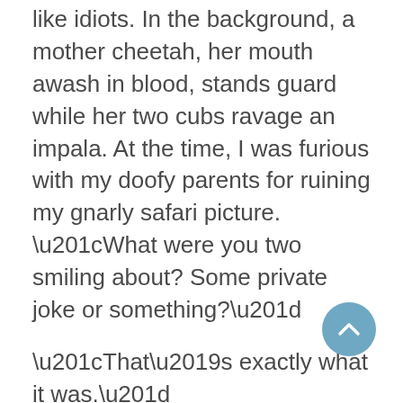like idiots. In the background, a mother cheetah, her mouth awash in blood, stands guard while her two cubs ravage an impala. At the time, I was furious with my doofy parents for ruining my gnarly safari picture. “What were you two smiling about? Some private joke or something?”
“That’s exactly what it was.”
“Tell me.” I actually do want to hear this.
“If I told you,” he says, “wouldn’t be private, would it?”
Dad is standing beside me, looking into the holding sink at a picture I haven’t yet had a